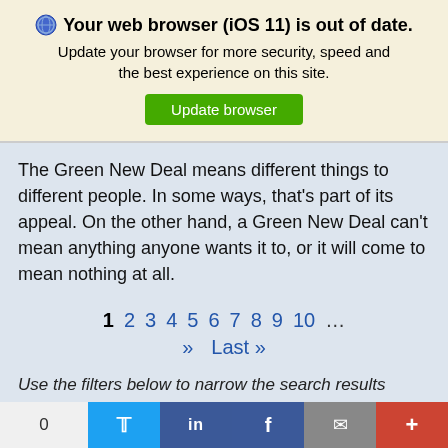🌐 Your web browser (iOS 11) is out of date. Update your browser for more security, speed and the best experience on this site. Update browser
The Green New Deal means different things to different people. In some ways, that's part of its appeal. On the other hand, a Green New Deal can't mean anything anyone wants it to, or it will come to mean nothing at all.
1 2 3 4 5 6 7 8 9 10 ... » Last»
Use the filters below to narrow the search results
CONTENT TYPE